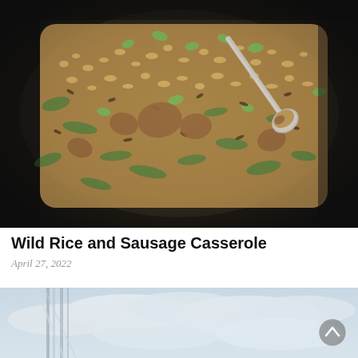[Figure (photo): Close-up photo of Wild Rice and Sausage Casserole in a dark pan, showing rice, sausage, green vegetables, and herbs, with a spoon scooping a portion.]
Wild Rice and Sausage Casserole
April 27, 2022
[Figure (photo): Partial photo showing an outdoor scene with a cloudy sky and what appears to be a building or structure with vertical lines, partially visible at the bottom of the page.]